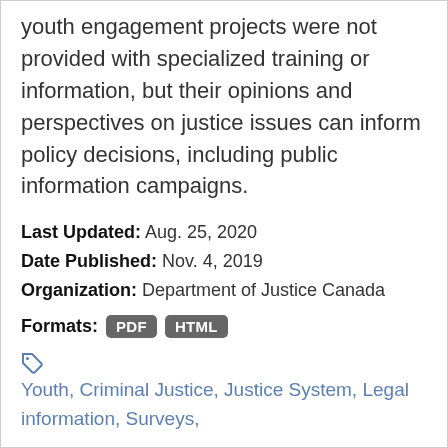youth engagement projects were not provided with specialized training or information, but their opinions and perspectives on justice issues can inform policy decisions, including public information campaigns.
Last Updated: Aug. 25, 2020
Date Published: Nov. 4, 2019
Organization: Department of Justice Canada
Formats: PDF HTML
Youth, Criminal Justice, Justice System, Legal information, Surveys,